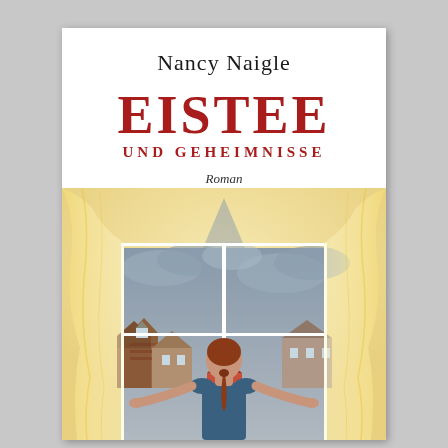[Figure (illustration): Book cover for 'Eistee und Geheimnisse' by Nancy Naigle. A woman with auburn hair in a ponytail, seen from behind, stands at an open window with sheer yellow curtains, looking out at rooftops and a cloudy sky. The cover shows the author name at the top, large red title text 'EISTEE' and 'UND GEHEIMNISSE', and the genre label 'Roman'.]